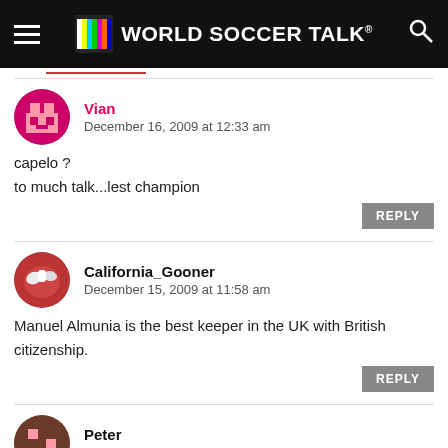World Soccer Talk
Vian
December 16, 2009 at 12:33 am
capelo ?
to much talk...lest champion
California_Gooner
December 15, 2009 at 11:58 am
Manuel Almunia is the best keeper in the UK with British citizenship.
Peter
December 14, 2009 at 12:27 pm